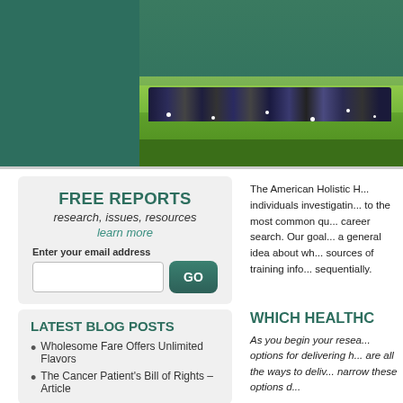[Figure (photo): Photo of people sitting on grass, showing feet/shoes, with green grass and daisies visible. Partial view of people seated outdoors.]
FREE REPORTS
research, issues, resources
learn more
Enter your email address
LATEST BLOG POSTS
Wholesome Fare Offers Unlimited Flavors
The Cancer Patient's Bill of Rights – Article
The American Holistic H... individuals investigatin... to the most common qu... career search. Our goal... a general idea about wh... sources of training info... sequentially.
WHICH HEALTH(C...
As you begin your resea... options for delivering h... are all the ways to deliv... narrow these options d...